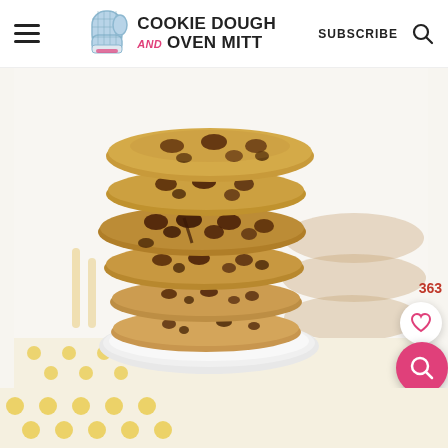Cookie Dough and Oven Mitt — SUBSCRIBE
[Figure (photo): Stack of six chocolate chip cookies on a white plate, photographed against a white background with a yellow polka dot surface visible below. Additional cookies blurred in the background. Like count 363 shown with heart icon. Pink search magnifier button overlay.]